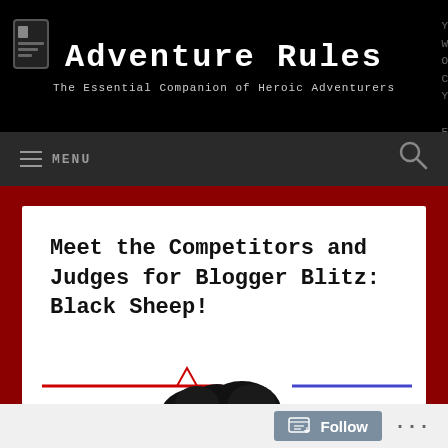Adventure Rules
The Essential Companion of Heroic Adventurers
[Figure (screenshot): Navigation bar with hamburger menu icon and MENU text on left, search icon on right, dark grey background]
Meet the Competitors and Judges for Blogger Blitz: Black Sheep!
[Figure (illustration): Black cloud shape with red triangle play button in center, overlaid on white card area with red line on left and blue line on right]
Follow